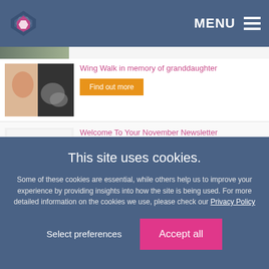MENU
Wing Walk in memory of granddaughter
Find out more
Welcome To Your November Newsletter
Find out more
Rail upgrades this weekend and over Christmas
This site uses cookies.
Some of these cookies are essential, while others help us to improve your experience by providing insights into how the site is being used. For more detailed information on the cookies we use, please check our Privacy Policy
Select preferences
Accept all